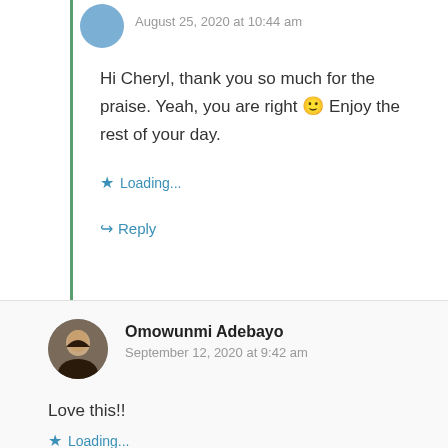August 25, 2020 at 10:44 am
Hi Cheryl, thank you so much for the praise. Yeah, you are right 🙂 Enjoy the rest of your day.
Loading...
Reply
Omowunmi Adebayo
September 12, 2020 at 9:42 am
Love this!!
Loading...